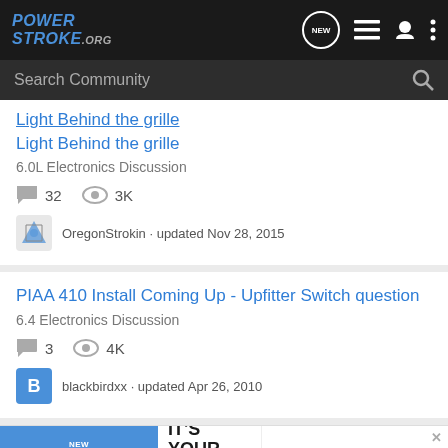PowerStroke.org - Search Community
Light Behind the grille
6.0L Electronics Discussion
32 comments · 3K views
OregonStrokin · updated Nov 28, 2015
PIAA 410 Install Coming Up - Upfitter Switch question
6.4 Electronics Discussion
3 comments · 4K views
blackbirdxx · updated Apr 26, 2010
[Figure (screenshot): Advertisement banner: New Homes for Active Adults - It's Your Move - CresswicK Charlotte 55+ Community]
Best L...